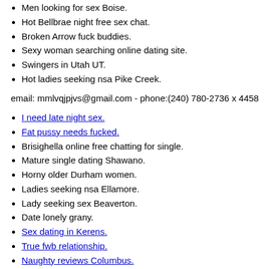Men looking for sex Boise.
Hot Bellbrae night free sex chat.
Broken Arrow fuck buddies.
Sexy woman searching online dating site.
Swingers in Utah UT.
Hot ladies seeking nsa Pike Creek.
email: mmlvqjpjvs@gmail.com - phone:(240) 780-2736 x 4458
I need late night sex.
Fat pussy needs fucked.
Brisighella online free chatting for single.
Mature single dating Shawano.
Horny older Durham women.
Ladies seeking nsa Ellamore.
Lady seeking sex Beaverton.
Date lonely grany.
Sex dating in Kerens.
True fwb relationship.
Naughty reviews Columbus.
Sex service Dover.
Klamath falls OR milf personals.
Sexy fuck Gibbonsville.
Ladies wants sex Van Buren.
Adult personals madisonville tn.
Sex dating in Wind ridge.